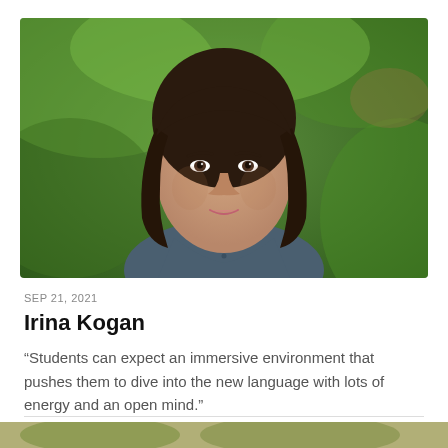[Figure (photo): Portrait photo of Irina Kogan, a woman with dark shoulder-length hair wearing a navy/slate blue collared shirt, photographed outdoors with a green blurred background (trees/foliage).]
SEP 21, 2021
Irina Kogan
“Students can expect an immersive environment that pushes them to dive into the new language with lots of energy and an open mind.”